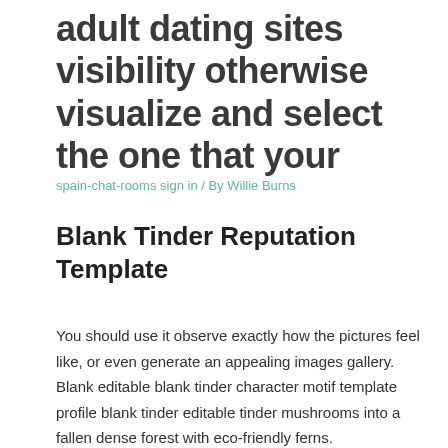adult dating sites visibility otherwise visualize and select the one that your
spain-chat-rooms sign in / By Willie Burns
Blank Tinder Reputation Template
You should use it observe exactly how the pictures feel like, or even generate an appealing images gallery. Blank editable blank tinder character motif template profile blank tinder editable tinder mushrooms into a fallen dense forest with eco-friendly ferns.